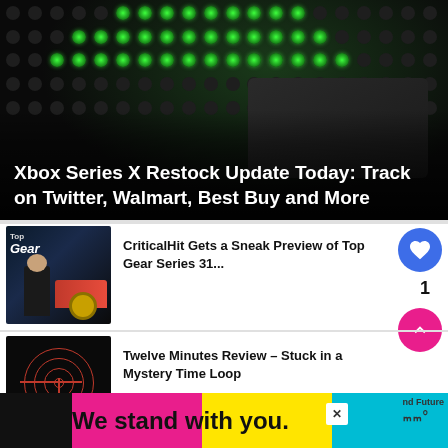[Figure (photo): Xbox Series X console close-up showing ventilation holes with green LED glow, dark background]
Xbox Series X Restock Update Today: Track on Twitter, Walmart, Best Buy and More
[Figure (photo): Top Gear promotional image with presenter in front of truck and large wheel]
CriticalHit Gets a Sneak Preview of Top Gear Series 31...
[Figure (photo): Twelve Minutes game art showing radar/concentric circles in red on black background]
Twelve Minutes Review – Stuck in a Mystery Time Loop
[Figure (infographic): Advertisement banner: We stand with you. Multicolored background (black, magenta, yellow, cyan) with close button]